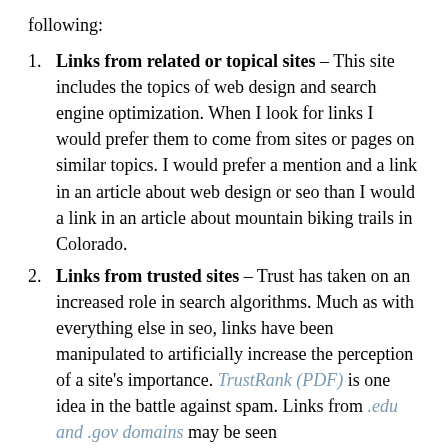following:
Links from related or topical sites – This site includes the topics of web design and search engine optimization. When I look for links I would prefer them to come from sites or pages on similar topics. I would prefer a mention and a link in an article about web design or seo than I would a link in an article about mountain biking trails in Colorado.
Links from trusted sites – Trust has taken on an increased role in search algorithms. Much as with everything else in seo, links have been manipulated to artificially increase the perception of a site's importance. TrustRank (PDF) is one idea in the battle against spam. Links from .edu and .gov domains may be seen